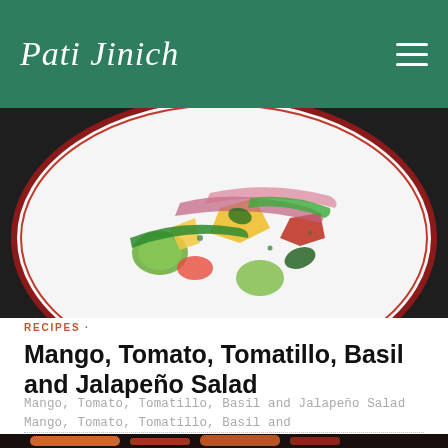Pati Jinich
[Figure (photo): Overhead close-up of a colorful salad on a white plate with red trim, containing mango, tomato, tomatillo, basil, red onion slices, and jalapeño on a dark background.]
RECIPES ·
Mango, Tomato, Tomatillo, Basil and Jalapeño Salad
Mango, Tomato, Tomatillo, Basil and Jalapeño Salad Mango, Tomato, Tomatillo, Basil and
[Figure (photo): Partial view of a colorful dish at the bottom of the page, with orange and red tones.]